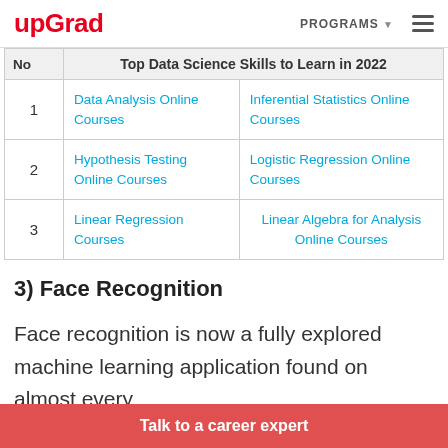upGrad | PROGRAMS
| No | Top Data Science Skills to Learn in 2022 |
| --- | --- |
| 1 | Data Analysis Online Courses | Inferential Statistics Online Courses |
| 2 | Hypothesis Testing Online Courses | Logistic Regression Online Courses |
| 3 | Linear Regression Courses | Linear Algebra for Analysis Online Courses |
3) Face Recognition
Face recognition is now a fully explored machine learning application found on almost every